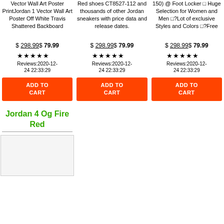Vector Wall Art Poster PrintJordan 1 Vector Wall Art Poster Off White Travis Shattered Backboard
Red shoes CT8527-112 and thousands of other Jordan sneakers with price data and release dates.
150) @ Foot Locker □ Huge Selection for Women and Men □?Lot of exclusive Styles and Colors □?Free
$ 298.99$ 79.99
$ 298.99$ 79.99
$ 298.99$ 79.99
★★★★★ Reviews:2020-12-24 22:33:29
★★★★★ Reviews:2020-12-24 22:33:29
★★★★★ Reviews:2020-12-24 22:33:29
ADD TO CART
ADD TO CART
ADD TO CART
Jordan 4 Og Fire Red
[Figure (photo): Product image placeholder]